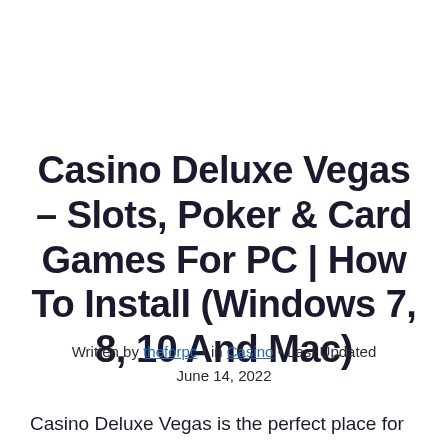Casino Deluxe Vegas – Slots, Poker & Card Games For PC | How To Install (Windows 7, 8, 10 And Mac)
Written by theforpc • in Casino • Last Updated June 14, 2022
Casino Deluxe Vegas is the perfect place for